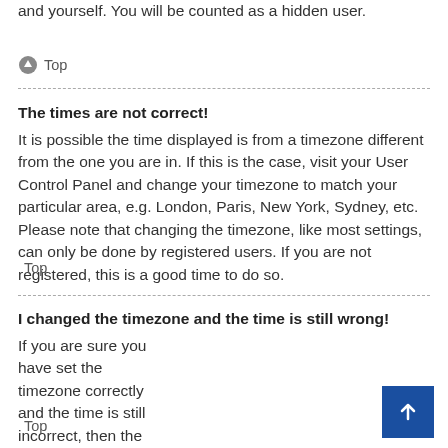and yourself. You will be counted as a hidden user.
Top
The times are not correct!
It is possible the time displayed is from a timezone different from the one you are in. If this is the case, visit your User Control Panel and change your timezone to match your particular area, e.g. London, Paris, New York, Sydney, etc. Please note that changing the timezone, like most settings, can only be done by registered users. If you are not registered, this is a good time to do so.
Top
I changed the timezone and the time is still wrong!
If you are sure you have set the timezone correctly and the time is still incorrect, then the time stored on the server clock is incorrect. Please notify an administrator to correct the problem.
Top